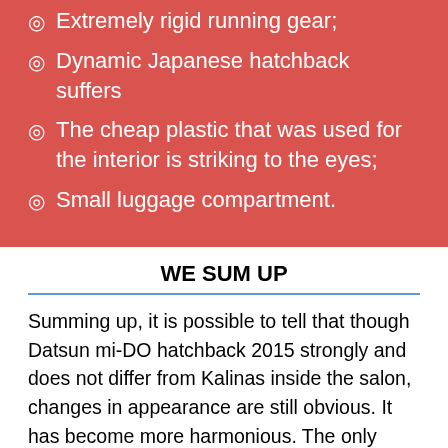Extremely rigid running gear;
Dynamic Japanese hatchback suffers
The cheap plastic that was used for the interior is striking to the eyes;
Small luggage compartment.
WE SUM UP
Summing up, it is possible to tell that though Datsun mi-DO hatchback 2015 strongly and does not differ from Kalinas inside the salon, changes in appearance are still obvious. It has become more harmonious. The only thing that is missing is space for rear passengers, because of the small wheelbase, and in general, the interior looks a little dull and gloomy. But a good ground clearance and low fuel consumption will allow